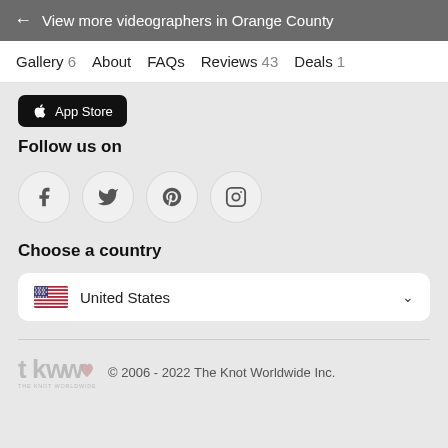← View more videographers in Orange County
Gallery 6   About   FAQs   Reviews 43   Deals 1
[Figure (screenshot): App Store download button (black)]
Follow us on
[Figure (infographic): Social media icons: Facebook, Twitter, Pinterest, Instagram (circular outline buttons)]
Choose a country
[Figure (infographic): Country selector dropdown showing United States flag and text with chevron]
[Figure (logo): The Knot Worldwide logo (tkww with heart)]
© 2006 - 2022 The Knot Worldwide Inc.